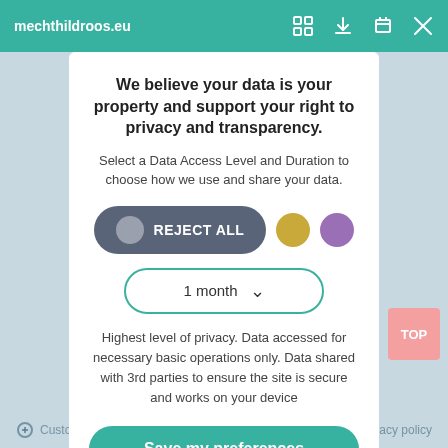mechthildroos.eu
Upcoming talk: The (construed) role of the EU in national policies on asylum seekers' and refugees' access to health care
We believe your data is your property and support your right to privacy and transparency.
Select a Data Access Level and Duration to choose how we use and share your data.
REJECT ALL
1 month
Highest level of privacy. Data accessed for necessary basic operations only. Data shared with 3rd parties to ensure the site is secure and works on your device
On Wednesday, 24 March, I will present a part of my research project "Migration and health policies in Europe" at the "Health in Europe" discussion forum hosted by the Centre for Law and Society, Lancaster Law
Save my preferences
Customize
Privacy policy